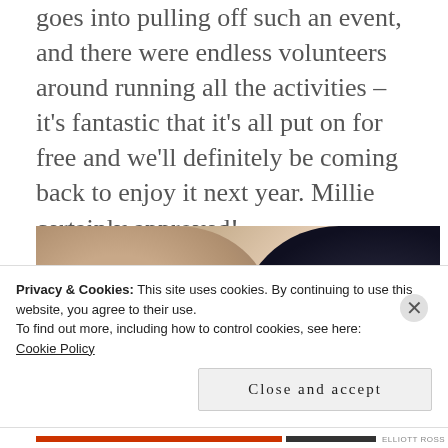goes into pulling off such an event, and there were endless volunteers around running all the activities – it's fantastic that it's all put on for free and we'll definitely be coming back to enjoy it next year. Millie certainly approved!
[Figure (photo): Close-up photo of a child's head/hair on the left side, with a dark background on the right side, taken from above or at an angle.]
Privacy & Cookies: This site uses cookies. By continuing to use this website, you agree to their use.
To find out more, including how to control cookies, see here:
Cookie Policy
Close and accept